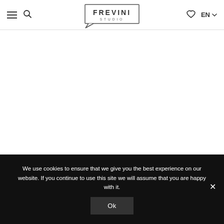FREVINI STUDIO — EN
[Figure (logo): Frevini Studio logo — rectangular border with speech-bubble notch at bottom, text FREVINI in bold uppercase and STUDIO in spaced small caps below]
We use cookies to ensure that we give you the best experience on our website. If you continue to use this site we will assume that you are happy with it.
Ok